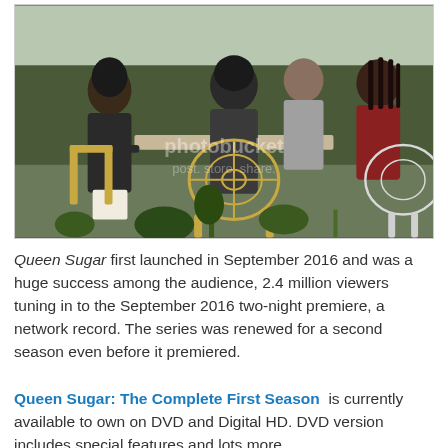[Figure (photo): Scene from TV show Queen Sugar showing four people seated at an outdoor table with ornate wrought-iron chairs, greenery in background. Photobucket watermark visible.]
Queen Sugar first launched in September 2016 and was a huge success among the audience, 2.4 million viewers tuning in to the September 2016 two-night premiere, a network record. The series was renewed for a second season even before it premiered.
Queen Sugar: The Complete First Season is currently available to own on DVD and Digital HD. DVD version includes special features and lots more...